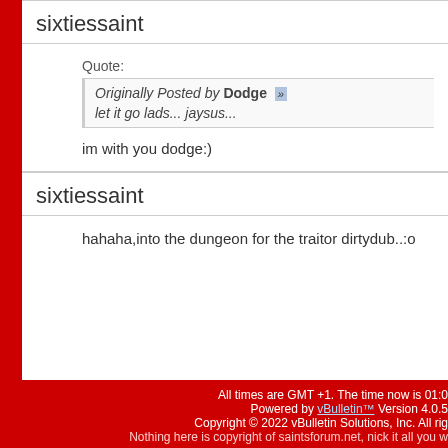sixtiessaint
Quote:
Originally Posted by Dodge
let it go lads... jaysus...
im with you dodge:)
sixtiessaint
hahaha,into the dungeon for the traitor dirtydub..:o
All times are GMT +1. The time now is 01:0
Powered by vBulletin™ Version 4.0.5
Copyright © 2022 vBulletin Solutions, Inc. All rig
Nothing here is copyright of saintsforum.net, nick it all you w